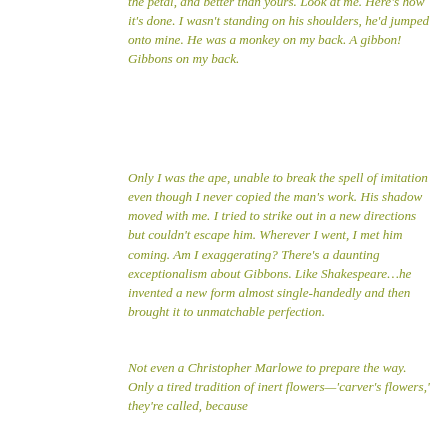the petal, and better than yours. Look at me. Here's how it's done. I wasn't standing on his shoulders, he'd jumped onto mine. He was a monkey on my back. A gibbon! Gibbons on my back.
Only I was the ape, unable to break the spell of imitation even though I never copied the man's work. His shadow moved with me. I tried to strike out in a new directions but couldn't escape him. Wherever I went, I met him coming. Am I exaggerating? There's a daunting exceptionalism about Gibbons. Like Shakespeare…he invented a new form almost single-handedly and then brought it to unmatchable perfection.
Not even a Christopher Marlowe to prepare the way. Only a tired tradition of inert flowers—'carver's flowers,' they're called, because